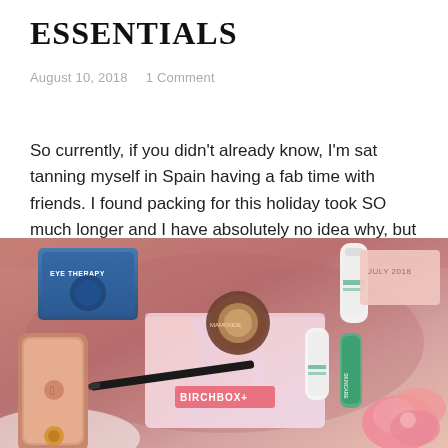ESSENTIALS
August 10, 2018    1 Comment
So currently, if you didn't already know, I'm sat tanning myself in Spain having a fab time with friends. I found packing for this holiday took SO much longer and I have absolutely no idea why, but I wanted to share what I think are some absolute holiday/summer must-haves. Some are of course obvious, but … Continue reading
[Figure (photo): Flat lay photo of beauty and skincare products including a Birchbox pouch, EYE THERAPY product, a compact powder, tubes and an iPhone in a rose gold case on a pink velvet fabric background with pink flowers.]